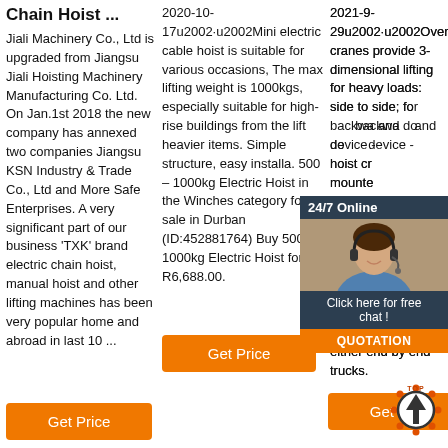Chain Hoist ...
Jiali Machinery Co., Ltd is upgraded from Jiangsu Jiali Hoisting Machinery Manufacturing Co. Ltd. On Jan.1st 2018 the new company has annexed two companies Jiangsu KSN Industry & Trade Co., Ltd and More Safe Enterprises. A very significant part of our business 'TXK' brand electric chain hoist, manual hoist and other lifting machines has been very popular home and abroad in last 10 ...
2020-10-17u2002·u2002Mini electric cable hoist is suitable for various occasions, The max lifting weight is 1000kgs, especially suitable for high-rise buildings from the lift heavier items. Simple structure, easy installa. 500 – 1000kg Electric Hoist in the Winches category for sale in Durban (ID:452881764) Buy 500 – 1000kg Electric Hoist for R6,688.00.
2021-9-29u2002·u2002Overhead cranes provide 3-dimensional lifting for heavy loads: side to side; forward and backward; and up and down. The bridge device - overhead hoist crane, is mounted on rails for horizontal movement. The bridge beam connects two or more horizontal girders (single or double beam) which are supported at either end by end trucks.
[Figure (photo): Customer service representative with headset, 24/7 Online chat widget with dark background, orange QUOTATION button]
[Figure (logo): TOP badge with orange dots and upward arrow circle]
Get Price
Get Price
Get Price